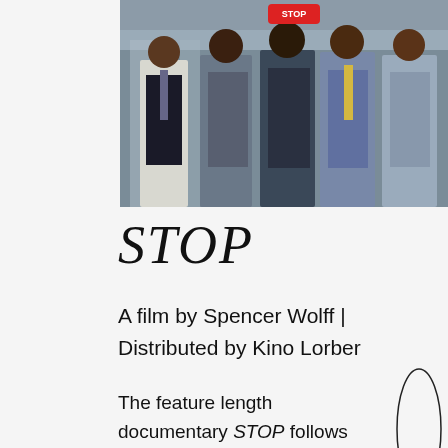[Figure (photo): Group of men in suits and formal wear standing together, photographed outdoors in front of a building. A red badge/button is visible.]
STOP
A film by Spencer Wolff | Distributed by Kino Lorber
The feature length documentary STOP follows three years in the life of David Ourlicht, one of the four named plaintiffs in Floyd vs. City of New York. By interweaving the story of David's family with the action and that is, STOP shows the story and